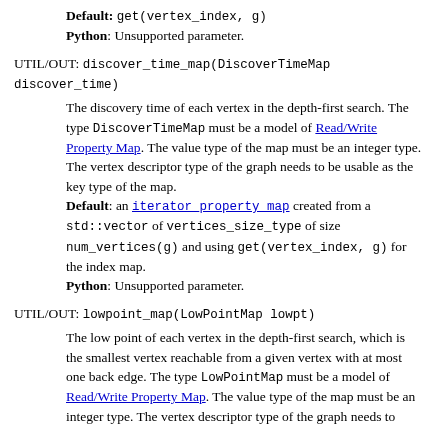Default: get(vertex_index, g)
Python: Unsupported parameter.
UTIL/OUT: discover_time_map(DiscoverTimeMap discover_time)
The discovery time of each vertex in the depth-first search. The type DiscoverTimeMap must be a model of Read/Write Property Map. The value type of the map must be an integer type. The vertex descriptor type of the graph needs to be usable as the key type of the map.
Default: an iterator_property_map created from a std::vector of vertices_size_type of size num_vertices(g) and using get(vertex_index, g) for the index map.
Python: Unsupported parameter.
UTIL/OUT: lowpoint_map(LowPointMap lowpt)
The low point of each vertex in the depth-first search, which is the smallest vertex reachable from a given vertex with at most one back edge. The type LowPointMap must be a model of Read/Write Property Map. The value type of the map must be an integer type. The vertex descriptor type of the graph needs to